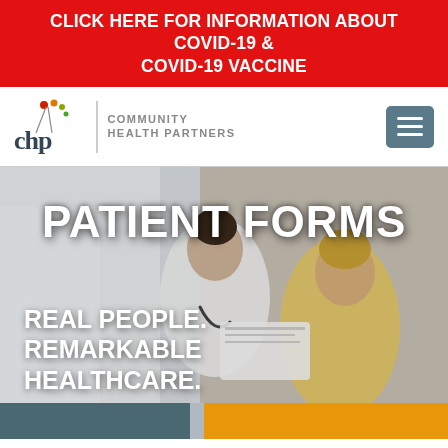CLICK HERE FOR INFORMATION ABOUT COVID-19 & COVID-19 VACCINE
[Figure (logo): Community Health Partners (CHP) logo with stylized plant/leaves icon, vertical divider, and text 'COMMUNITY HEALTH PARTNERS' in grey uppercase letters. Hamburger menu button in blue-grey at right.]
[Figure (photo): Hero image of a female doctor in white coat with stethoscope reviewing documents with a female patient in a medical office. Overlaid text reads 'PATIENT FORMS' at top and 'REAL PEOPLE. REMARKABLE HEALTHCARE.' at bottom left. Two partial button strips visible at bottom edge.]